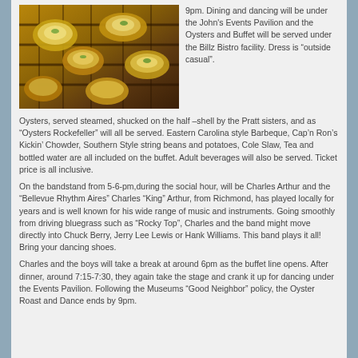[Figure (photo): Photo of oysters on a grill, showing grilled oysters in shells on a grate, yellowish and colorful.]
9pm. Dining and dancing will be under the John's Events Pavilion and the Oysters and Buffet will be served under the Billz Bistro facility. Dress is “outside casual”.
Oysters, served steamed, shucked on the half –shell by the Pratt sisters, and as “Oysters Rockefeller” will all be served. Eastern Carolina style Barbeque, Cap’n Ron’s Kickin’ Chowder, Southern Style string beans and potatoes, Cole Slaw, Tea and bottled water are all included on the buffet. Adult beverages will also be served. Ticket price is all inclusive.
On the bandstand from 5-6-pm,during the social hour, will be Charles Arthur and the “Bellevue Rhythm Aires” Charles “King” Arthur, from Richmond, has played locally for years and is well known for his wide range of music and instruments. Going smoothly from driving bluegrass such as “Rocky Top”, Charles and the band might move directly into Chuck Berry, Jerry Lee Lewis or Hank Williams. This band plays it all! Bring your dancing shoes.
Charles and the boys will take a break at around 6pm as the buffet line opens. After dinner, around 7:15-7:30, they again take the stage and crank it up for dancing under the Events Pavilion. Following the Museums “Good Neighbor” policy, the Oyster Roast and Dance ends by 9pm.